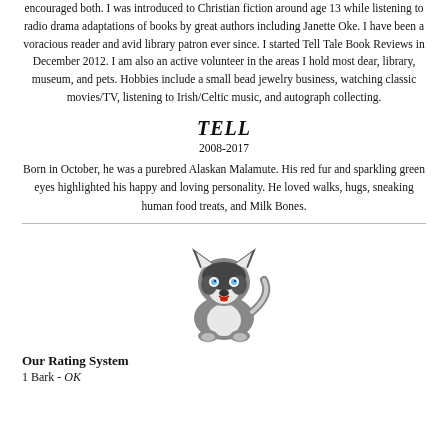encouraged both. I was introduced to Christian fiction around age 13 while listening to radio drama adaptations of books by great authors including Janette Oke. I have been a voracious reader and avid library patron ever since. I started Tell Tale Book Reviews in December 2012. I am also an active volunteer in the areas I hold most dear, library, museum, and pets. Hobbies include a small bead jewelry business, watching classic movies/TV, listening to Irish/Celtic music, and autograph collecting.
TELL
2008-2017
Born in October, he was a purebred Alaskan Malamute. His red fur and sparkling green eyes highlighted his happy and loving personality. He loved walks, hugs, sneaking human food treats, and Milk Bones.
[Figure (illustration): Pixel art illustration of a sitting Husky/Malamute dog with blue eyes, black and white/grey fur, facing forward.]
Our Rating System
1 Bark - OK